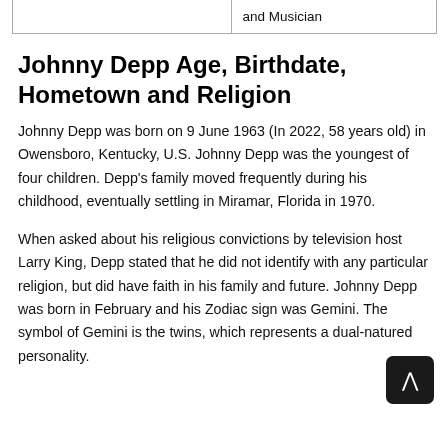|  | and Musician |
| --- | --- |
|  |
Johnny Depp Age, Birthdate, Hometown and Religion
Johnny Depp was born on 9 June 1963 (In 2022, 58 years old) in Owensboro, Kentucky, U.S. Johnny Depp was the youngest of four children. Depp's family moved frequently during his childhood, eventually settling in Miramar, Florida in 1970.
When asked about his religious convictions by television host Larry King, Depp stated that he did not identify with any particular religion, but did have faith in his family and future. Johnny Depp was born in February and his Zodiac sign was Gemini. The symbol of Gemini is the twins, which represents a dual-natured personality.